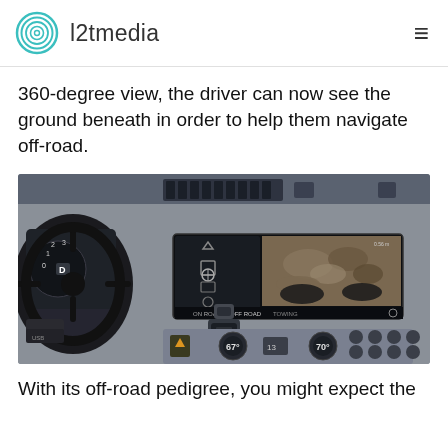l2tmedia
360-degree view, the driver can now see the ground beneath in order to help them navigate off-road.
[Figure (photo): Interior dashboard of a Land Rover Defender showing steering wheel on left, center infotainment screen displaying a 360-degree camera view of rocky terrain beneath the vehicle wheels, with gear selector and climate controls visible.]
With its off-road pedigree, you might expect the